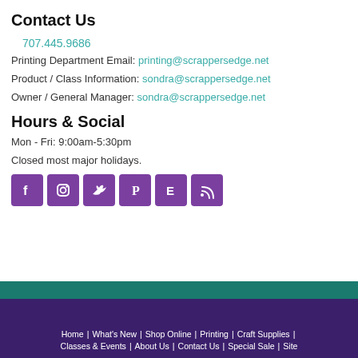Contact Us
707.445.9686
Printing Department Email: printing@scrappersedge.net
Product / Class Information: sondra@scrappersedge.net
Owner / General Manager: sondra@scrappersedge.net
Hours & Social
Mon - Fri: 9:00am-5:30pm
Closed most major holidays.
[Figure (infographic): Six social media icon buttons: Facebook (purple), Instagram (purple), Twitter (purple), Pinterest (purple), Etsy (purple), RSS (purple)]
Home | What's New | Shop Online | Printing | Craft Supplies | Classes & Events | About Us | Contact Us | Special Sale | Site